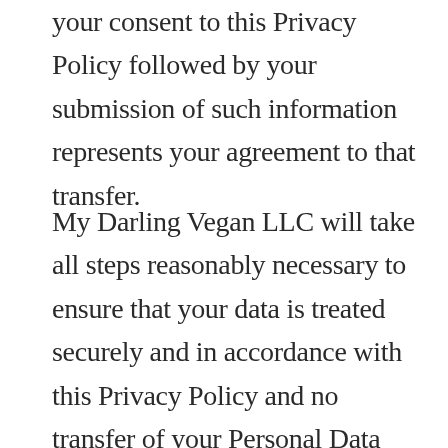your consent to this Privacy Policy followed by your submission of such information represents your agreement to that transfer.
My Darling Vegan LLC will take all steps reasonably necessary to ensure that your data is treated securely and in accordance with this Privacy Policy and no transfer of your Personal Data will take place to an organization or a country unless there are adequate controls in place including the security of your data and other personal information.